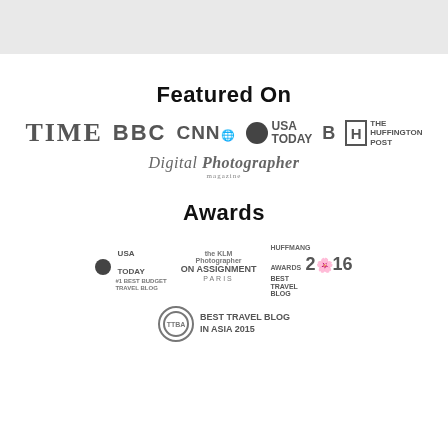[Figure (logo): Gray banner top area]
Featured On
[Figure (logo): Row of media logos: TIME, BBC, CNN, USA TODAY, Huffington Post]
[Figure (logo): Digital Photographer magazine logo]
Awards
[Figure (logo): Awards logos: USA TODAY #1 Best Budget Travel Blog, KLM Photographer On Assignment Paris, Huffington Post Awards 2016 Best Travel Blog]
[Figure (logo): Best Travel Blog in Asia 2015 badge]